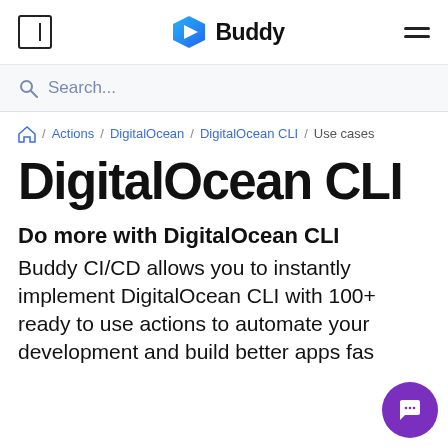Buddy
Search...
/ Actions / DigitalOcean / DigitalOcean CLI / Use cases
DigitalOcean CLI
Do more with DigitalOcean CLI
Buddy CI/CD allows you to instantly implement DigitalOcean CLI with 100+ ready to use actions to automate your development and build better apps fas